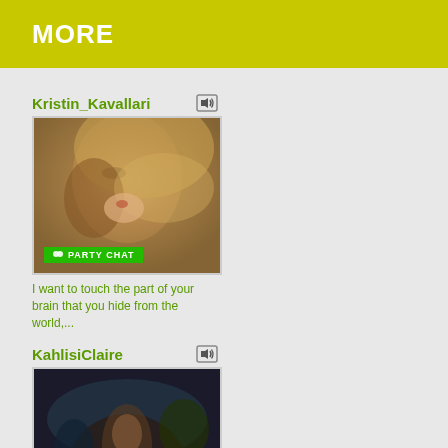MORE
Kristin_Kavallari
[Figure (photo): Woman with flowing blonde hair partially covering face, with a green PARTY CHAT badge overlay]
I want to touch the part of your brain that you hide from the world,...
KahlisiClaire
[Figure (photo): Person in dark outdoor nighttime setting, with a green PARTY CHAT badge overlay]
My tip vibe is on! Lush vibes, feet play, fetish friendly. Posing...